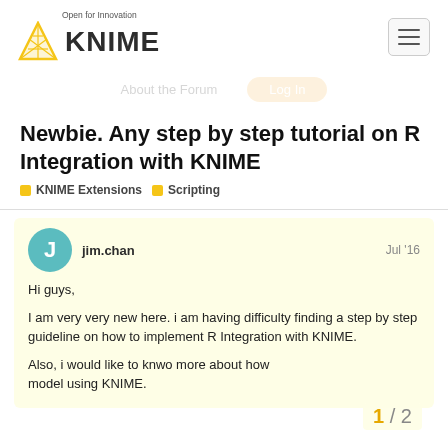[Figure (logo): KNIME logo with triangle icon and tagline 'Open for Innovation']
Newbie. Any step by step tutorial on R Integration with KNIME
KNIME Extensions   Scripting
jim.chan   Jul '16
Hi guys,

I am very very new here. i am having difficulty finding a step by step guideline on how to implement R Integration with KNIME.

Also, i would like to knwo more about how model using KNIME.
1 / 2